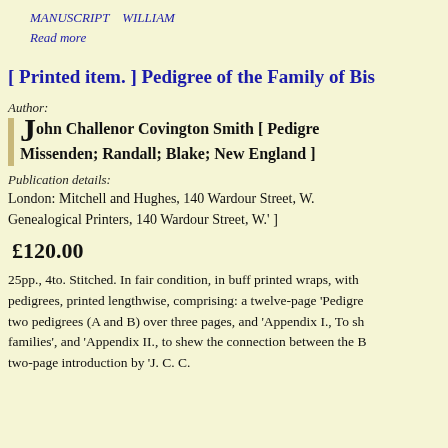MANUSCRIPT   WILLIAM
Read more
[ Printed item. ] Pedigree of the Family of Bis
Author:
John Challenor Covington Smith [ Pedigre Missenden; Randall; Blake; New England ]
Publication details:
London: Mitchell and Hughes, 140 Wardour Street, W. Genealogical Printers, 140 Wardour Street, W.' ]
£120.00
25pp., 4to. Stitched. In fair condition, in buff printed wraps, with pedigrees, printed lengthwise, comprising: a twelve-page 'Pedigre two pedigrees (A and B) over three pages, and 'Appendix I., To sh families', and 'Appendix II., to shew the connection between the B two-page introduction by 'J. C. C.